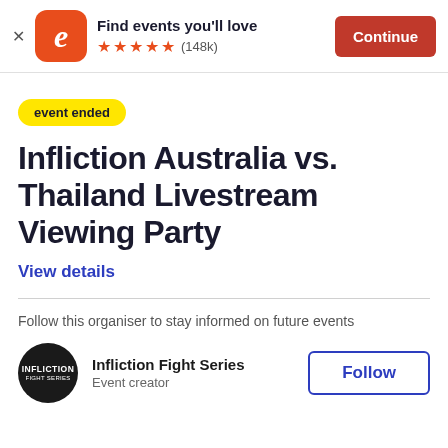[Figure (screenshot): Eventbrite app banner with logo, 'Find events you'll love' text, 5 orange stars, (148k) rating, and orange Continue button]
event ended
Infliction Australia vs. Thailand Livestream Viewing Party
View details
Follow this organiser to stay informed on future events
[Figure (logo): Infliction Fight Series circular logo, dark background with white text]
Infliction Fight Series
Event creator
Follow